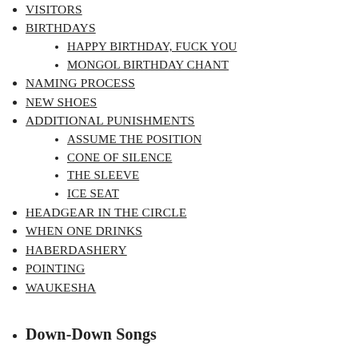VISITORS
BIRTHDAYS
HAPPY BIRTHDAY, FUCK YOU
MONGOL BIRTHDAY CHANT
NAMING PROCESS
NEW SHOES
ADDITIONAL PUNISHMENTS
ASSUME THE POSITION
CONE OF SILENCE
THE SLEEVE
ICE SEAT
HEADGEAR IN THE CIRCLE
WHEN ONE DRINKS
HABERDASHERY
POINTING
WAUKESHA
Down-Down Songs